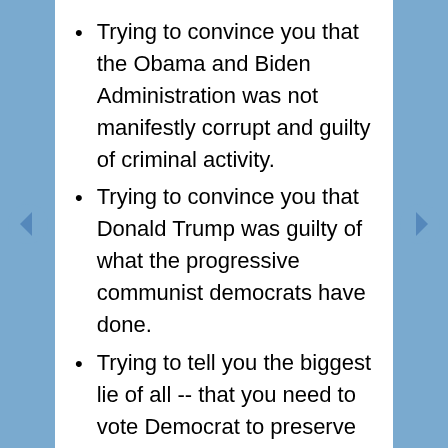Trying to convince you that the Obama and Biden Administration was not manifestly corrupt and guilty of criminal activity.
Trying to convince you that Donald Trump was guilty of what the progressive communist democrats have done.
Trying to tell you the biggest lie of all -- that you need to vote Democrat to preserve democracy.